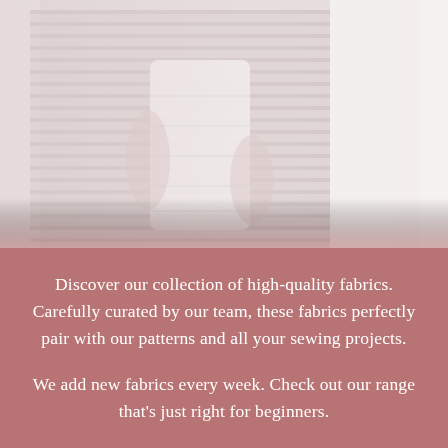[Figure (photo): A washed-out, light-toned photo of a person in a striped long-sleeve shirt holding a stack of white round containers or boxes, shown from the torso down.]
Discover our collection of high-quality fabrics. Carefully curated by our team, these fabrics perfectly pair with our patterns and all your sewing projects.

We add new fabrics every week. Check out our range that's just right for beginners.